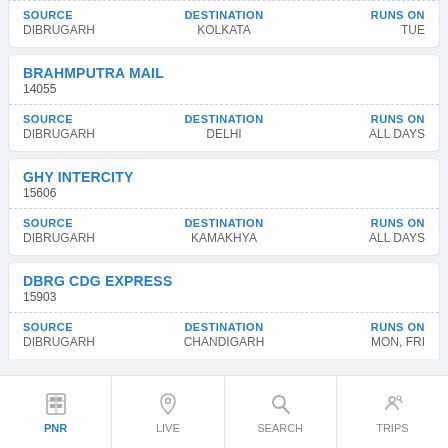| SOURCE | DESTINATION | RUNS ON |
| --- | --- | --- |
| DIBRUGARH | KOLKATA | TUE |
BRAHMPUTRA MAIL
14055
| SOURCE | DESTINATION | RUNS ON |
| --- | --- | --- |
| DIBRUGARH | DELHI | ALL DAYS |
GHY INTERCITY
15606
| SOURCE | DESTINATION | RUNS ON |
| --- | --- | --- |
| DIBRUGARH | KAMAKHYA | ALL DAYS |
DBRG CDG EXPRESS
15903
| SOURCE | DESTINATION | RUNS ON |
| --- | --- | --- |
| DIBRUGARH | CHANDIGARH | MON, FRI |
PNR | LIVE | SEARCH | TRIPS